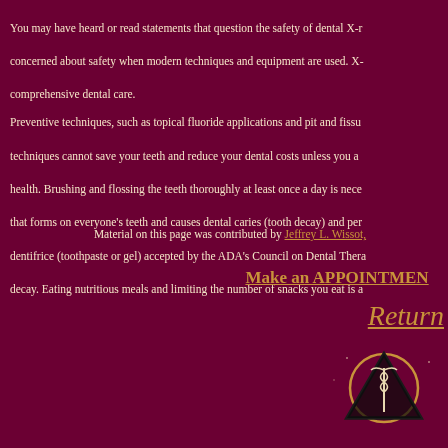You may have heard or read statements that question the safety of dental X-rays. There is no need to be concerned about safety when modern techniques and equipment are used. X-rays are a necessary part of comprehensive dental care.
Preventive techniques, such as topical fluoride applications and pit and fissure sealants are valuable, but techniques cannot save your teeth and reduce your dental costs unless you are committed to good dental health. Brushing and flossing the teeth thoroughly at least once a day is necessary to remove the plaque that forms on everyone's teeth and causes dental caries (tooth decay) and periodontal disease. Use a dentifrice (toothpaste or gel) accepted by the ADA's Council on Dental Therapeutics to help prevent tooth decay. Eating nutritious meals and limiting the number of snacks you eat is also important.
Material on this page was contributed by Jeffrey L. Wissot,
Make an APPOINTMENT
Return
[Figure (logo): Dental organization logo: triangle with circle and caduceus symbol]